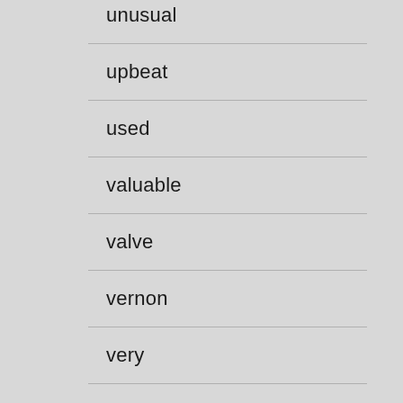unusual
upbeat
used
valuable
valve
vernon
very
vibrato
vicent
victory
vincent
vintage